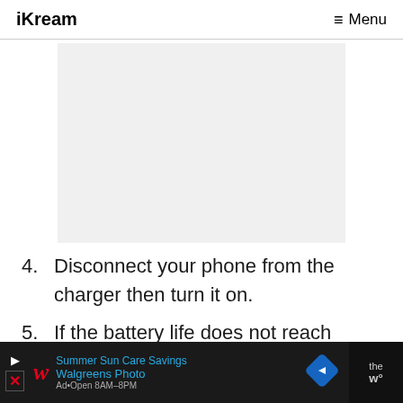iKream   ≡ Menu
[Figure (other): Gray advertisement placeholder box]
4. Disconnect your phone from the charger then turn it on.
5. If the battery life does not reach
[Figure (other): Walgreens Photo advertisement banner at bottom of page showing Summer Sun Care Savings]